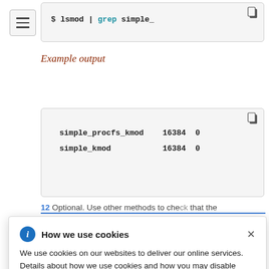[Figure (other): Hamburger menu icon (three horizontal lines in a bordered box)]
$ lsmod | grep simple_
Example output
simple_procfs_kmod    16384  0
simple_kmod           16384  0
12  Optional. Use other methods to check that the
How we use cookies
We use cookies on our websites to deliver our online services. Details about how we use cookies and how you may disable them are set out in our Privacy Statement. By using this website you agree to our use of cookies.